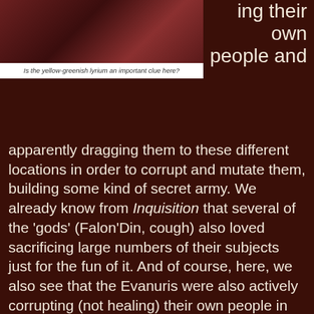[Figure (photo): Dark reddish-brown fantasy scene, appears to show legs or furniture in a dimly lit environment]
Is the yellow-greenish lyrium an important clue here?
ing their own people and apparently dragging them to these different locations in order to corrupt and mutate them, building some kind of secret army. We already know from Inquisition that several of the 'gods' (Falon'Din, cough) also loved sacrificing large numbers of their subjects just for the fun of it. And of course, here, we also see that the Evanuris were also actively corrupting (not healing) their own people in further experimentation, leading massive armies to bring their prison ships to their doomed final destinations.
Nah, that's not disturbing at all. (Seriously, Evanuris people, what was WRONG with you?)